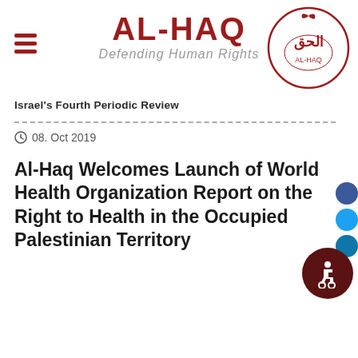AL-HAQ — Defending Human Rights
Israel's Fourth Periodic Review
08. Oct 2019
Al-Haq Welcomes Launch of World Health Organization Report on the Right to Health in the Occupied Palestinian Territory
[Figure (logo): Al-Haq Arabic circular logo with Arabic calligraphy and bird motif in dark red outline]